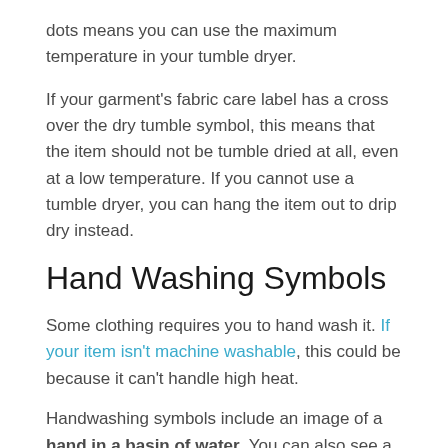dots means you can use the maximum temperature in your tumble dryer.
If your garment's fabric care label has a cross over the dry tumble symbol, this means that the item should not be tumble dried at all, even at a low temperature. If you cannot use a tumble dryer, you can hang the item out to drip dry instead.
Hand Washing Symbols
Some clothing requires you to hand wash it. If your item isn't machine washable, this could be because it can't handle high heat.
Handwashing symbols include an image of a hand in a basin of water. You can also see a handwashing symbol that looks like a twisted piece of material. This indicates that you shouldn't wring the item out after you hand wash it.